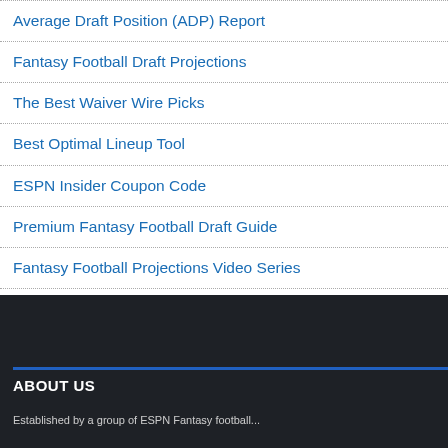Average Draft Position (ADP) Report
Fantasy Football Draft Projections
The Best Waiver Wire Picks
Best Optimal Lineup Tool
ESPN Insider Coupon Code
Premium Fantasy Football Draft Guide
Fantasy Football Projections Video Series
ABOUT US
Established by a group of ESPN Fantasy football...